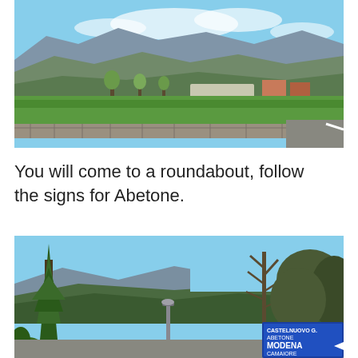[Figure (photo): Landscape photo showing green agricultural fields in the foreground, a stone wall along a road on the right, and rolling hills and mountains in the background under a partly cloudy blue sky. A few buildings and trees are visible in the mid-ground.]
You will come to a roundabout, follow the signs for Abetone.
[Figure (photo): Roadside photo showing a large evergreen tree (cypress-like) on the left, bare deciduous trees on the right, forested hills in the background, a street lamp, and a blue Italian road sign in the lower right corner showing destinations: CASTELNUOVO G., ABETONE, MODENA, CAMAIORE.]